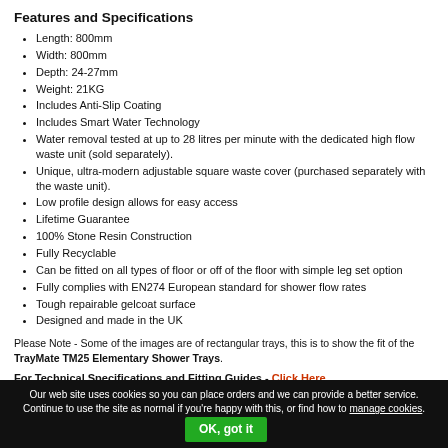Features and Specifications
Length: 800mm
Width: 800mm
Depth: 24-27mm
Weight: 21KG
Includes Anti-Slip Coating
Includes Smart Water Technology
Water removal tested at up to 28 litres per minute with the dedicated high flow waste unit (sold separately).
Unique, ultra-modern adjustable square waste cover (purchased separately with the waste unit).
Low profile design allows for easy access
Lifetime Guarantee
100% Stone Resin Construction
Fully Recyclable
Can be fitted on all types of floor or off of the floor with simple leg set option
Fully complies with EN274 European standard for shower flow rates
Tough repairable gelcoat surface
Designed and made in the UK
Please Note - Some of the images are of rectangular trays, this is to show the fit of the TrayMate TM25 Elementary Shower Trays.
For Technical Specifications and Fitting Guides - Click Here
Our web site uses cookies so you can place orders and we can provide a better service. Continue to use the site as normal if you're happy with this, or find how to manage cookies.    OK, got it